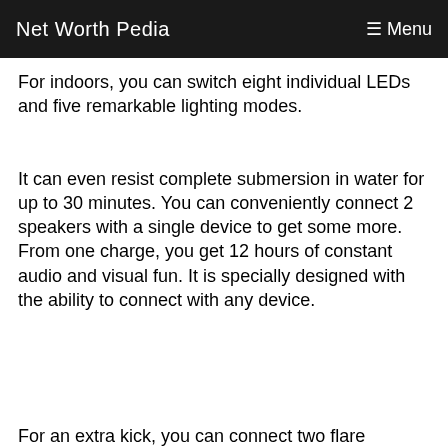Net Worth Pedia   ☰ Menu
For indoors, you can switch eight individual LEDs and five remarkable lighting modes.
It can even resist complete submersion in water for up to 30 minutes. You can conveniently connect 2 speakers with a single device to get some more. From one charge, you get 12 hours of constant audio and visual fun. It is specially designed with the ability to connect with any device.
For an extra kick, you can connect two flare